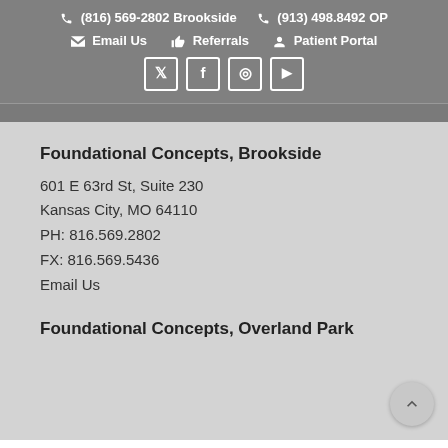(816) 569-2802 Brookside   (913) 498.8492 OP   Email Us   Referrals   Patient Portal
Foundational Concepts, Brookside
601 E 63rd St, Suite 230
Kansas City, MO 64110
PH: 816.569.2802
FX: 816.569.5436
Email Us
Foundational Concepts, Overland Park